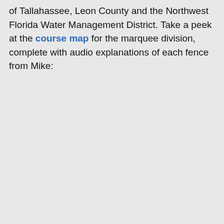of Tallahassee, Leon County and the Northwest Florida Water Management District. Take a peek at the course map for the marquee division, complete with audio explanations of each fence from Mike: